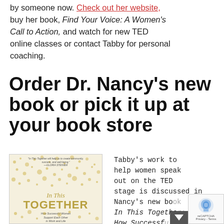by someone now. Check out her website, buy her book, Find Your Voice: A Women's Call to Action, and watch for new TED online classes or contact Tabby for personal coaching.
Order Dr. Nancy's new book or pick it up at your book store
[Figure (photo): Book cover of 'In This Together: How Successful Women Support Each Other in Work and Life' with gold dot pattern on cream/beige background and a quote from Gloria Steinem at the top.]
Tabby's work to help women speak out on the TED stage is discussed in Nancy's new book, In This Together: How Successf...